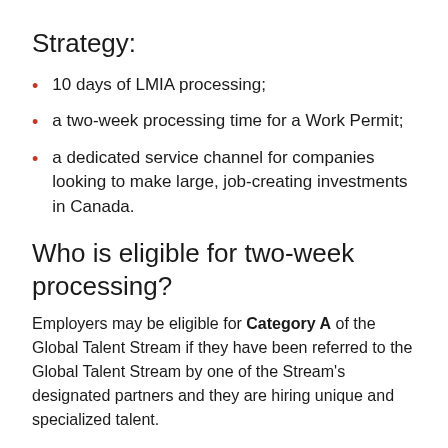Strategy:
10 days of LMIA processing;
a two-week processing time for a Work Permit;
a dedicated service channel for companies looking to make large, job-creating investments in Canada.
Who is eligible for two-week processing?
Employers may be eligible for Category A of the Global Talent Stream if they have been referred to the Global Talent Stream by one of the Stream's designated partners and they are hiring unique and specialized talent.